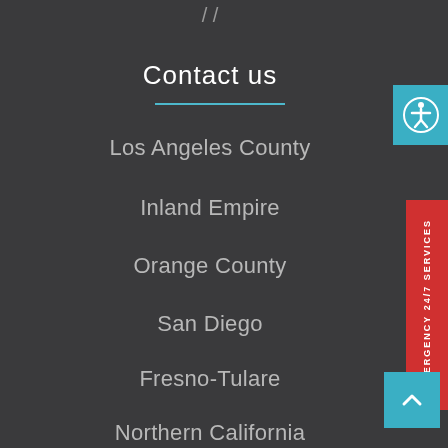Contact us
Los Angeles County
Inland Empire
Orange County
San Diego
Fresno-Tulare
Northern California
St. Louis
Eastern U.S.